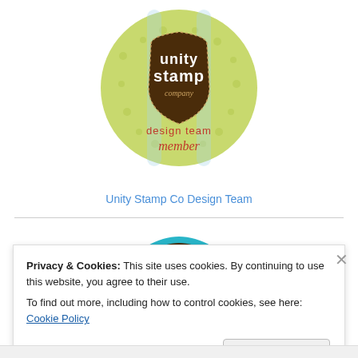[Figure (logo): Unity Stamp Company Design Team Member badge — circular badge with green polka-dot background, brown shield shape with 'unity stamp company' text and 'design team member' in red script below]
Unity Stamp Co Design Team
[Figure (logo): Unity Stamp Company Artist badge — brown ornate shield shape with teal/cyan decorative frame, 'unity stamp company Artist' text in white]
Privacy & Cookies: This site uses cookies. By continuing to use this website, you agree to their use.
To find out more, including how to control cookies, see here: Cookie Policy
Close and accept